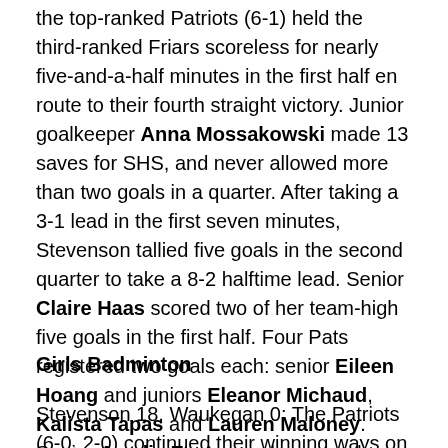the top-ranked Patriots (6-1) held the third-ranked Friars scoreless for nearly five-and-a-half minutes in the first half en route to their fourth straight victory. Junior goalkeeper Anna Mossakowski made 13 saves for SHS, and never allowed more than two goals in a quarter. After taking a 3-1 lead in the first seven minutes, Stevenson tallied five goals in the second quarter to take a 8-2 halftime lead. Senior Claire Haas scored two of her team-high five goals in the first half. Four Pats registered two goals each: senior Eileen Hoang and juniors Eleanor Michaud, Kalista Tapas and Lauren Maloney. Senior Amelia Eastman also scored.
Girls Badminton
Stevenson 18, Waukegan 0: The Patriots (6-0, 2-0) continued their winning ways on the road, with every